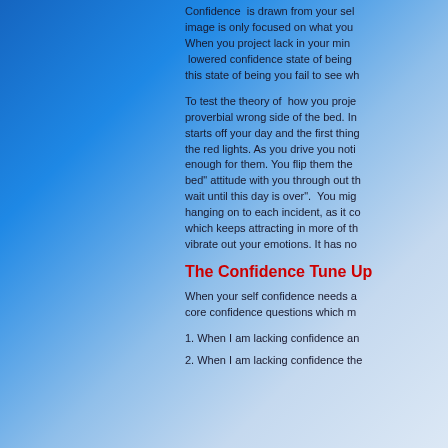Confidence is drawn from your self image is only focused on what you When you project lack in your mind lowered confidence state of being this state of being you fail to see wh
To test the theory of how you proje proverbial wrong side of the bed. In starts off your day and the first thing the red lights. As you drive you noti enough for them. You flip them the bed" attitude with you through out th wait until this day is over". You mig hanging on to each incident, as it co which keeps attracting in more of th vibrate out your emotions. It has no
The Confidence Tune Up
When your self confidence needs a core confidence questions which m
1. When I am lacking confidence an
2. When I am lacking confidence the